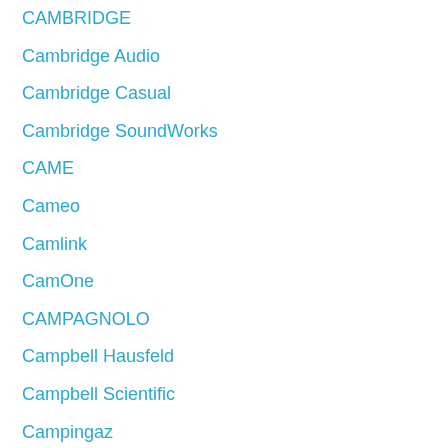CAMBRIDGE
Cambridge Audio
Cambridge Casual
Cambridge SoundWorks
CAME
Cameo
Camlink
CamOne
CAMPAGNOLO
Campbell Hausfeld
Campbell Scientific
Campingaz
Campomatic
Camry
CANAL PLUS